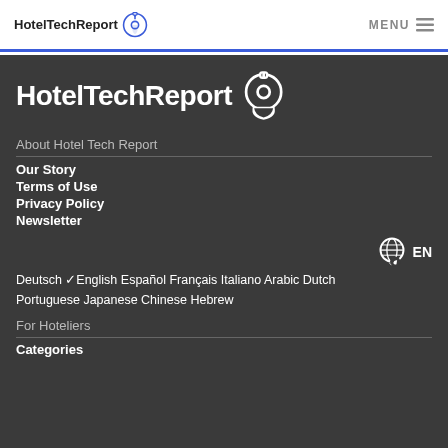HotelTechReport  MENU ≡
[Figure (logo): HotelTechReport large white logo with speech-bubble power icon on dark background]
About Hotel Tech Report
Our Story
Terms of Use
Privacy Policy
Newsletter
[Figure (logo): Globe with speech bubble icon and EN language selector]
Deutsch ✓English Español Français Italiano Arabic Dutch Portuguese Japanese Chinese Hebrew
For Hoteliers
Categories